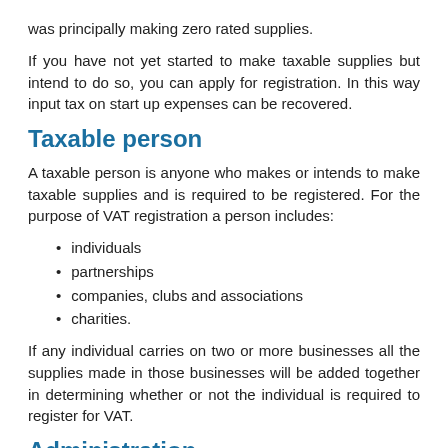was principally making zero rated supplies.
If you have not yet started to make taxable supplies but intend to do so, you can apply for registration. In this way input tax on start up expenses can be recovered.
Taxable person
A taxable person is anyone who makes or intends to make taxable supplies and is required to be registered. For the purpose of VAT registration a person includes:
individuals
partnerships
companies, clubs and associations
charities.
If any individual carries on two or more businesses all the supplies made in those businesses will be added together in determining whether or not the individual is required to register for VAT.
Administration